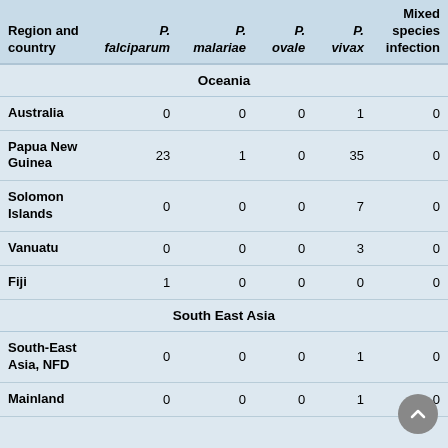| Region and country | P. falciparum | P. malariae | P. ovale | P. vivax | Mixed species infection |
| --- | --- | --- | --- | --- | --- |
| Oceania |  |  |  |  |  |
| Australia | 0 | 0 | 0 | 1 | 0 |
| Papua New Guinea | 23 | 1 | 0 | 35 | 0 |
| Solomon Islands | 0 | 0 | 0 | 7 | 0 |
| Vanuatu | 0 | 0 | 0 | 3 | 0 |
| Fiji | 1 | 0 | 0 | 0 | 0 |
| South East Asia |  |  |  |  |  |
| South-East Asia, NFD | 0 | 0 | 0 | 1 | 0 |
| Mainland | 0 | 0 | 0 | 1 | 0 |